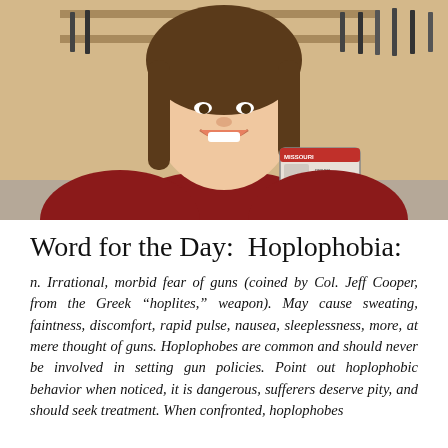[Figure (photo): A woman in a red sweater smiling and holding up a Missouri ID card, inside what appears to be a gun shop with firearms visible in the background.]
Word for the Day:  Hoplophobia:
n. Irrational, morbid fear of guns (coined by Col. Jeff Cooper, from the Greek “hoplites,” weapon). May cause sweating, faintness, discomfort, rapid pulse, nausea, sleeplessness, more, at mere thought of guns. Hoplophobes are common and should never be involved in setting gun policies. Point out hoplophobic behavior when noticed, it is dangerous, sufferers deserve pity, and should seek treatment. When confronted, hoplophobes